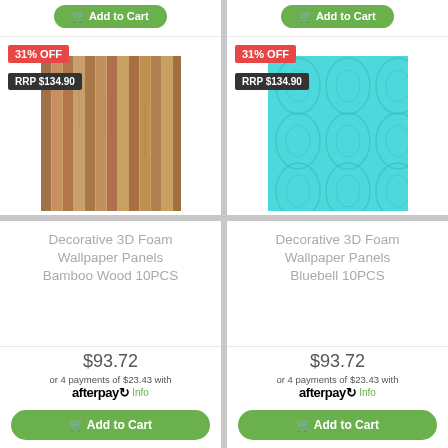[Figure (screenshot): Two product cards showing Decorative 3D Foam Wallpaper Panels with Add to Cart buttons at top (partially visible), product images with 31% OFF and RRP $134.90 badges, product names, prices of $93.72, Afterpay payment info, and Add to Cart buttons at bottom.]
Decorative 3D Foam Wallpaper Panels Bamboo Wood 10PCS
$93.72
or 4 payments of $23.43 with afterpay Info
Decorative 3D Foam Wallpaper Panels Bluebell 10PCS
$93.72
or 4 payments of $23.43 with afterpay Info